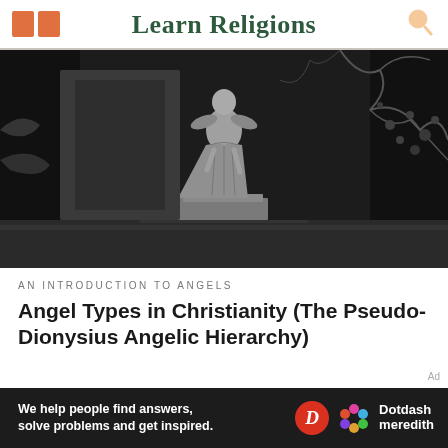Learn Religions
[Figure (photo): Black and white photograph of an angel statue on a pedestal, surrounded by dark foliage and tree branches]
AN INTRODUCTION TO ANGELS
Angel Types in Christianity (The Pseudo-Dionysius Angelic Hierarchy)
[Figure (logo): Dotdash Meredith advertisement banner with text: We help people find answers, solve problems and get inspired. Dotdash Meredith logo with D circle icon and flower icon.]